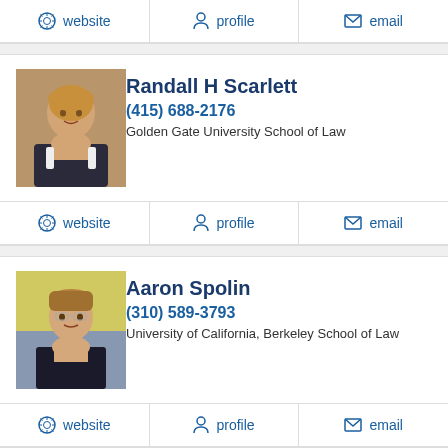website | profile | email
[Figure (photo): Headshot of Randall H Scarlett, older man with blond/grey hair in dark suit]
Randall H Scarlett
(415) 688-2176
Golden Gate University School of Law
website | profile | email
[Figure (photo): Headshot of Aaron Spolin, young man with glasses in dark suit]
Aaron Spolin
(310) 589-3793
University of California, Berkeley School of Law
website | profile | email